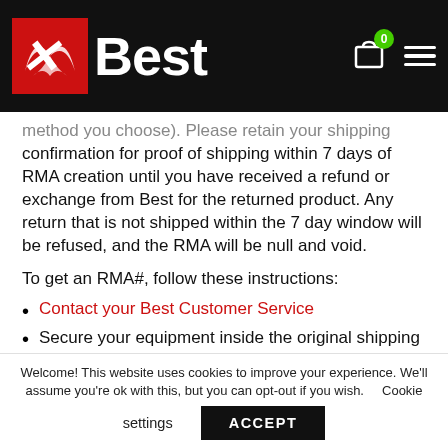Best [logo with navigation icons]
method you choose). Please retain your shipping confirmation for proof of shipping within 7 days of RMA creation until you have received a refund or exchange from Best for the returned product. Any return that is not shipped within the 7 day window will be refused, and the RMA will be null and void.
To get an RMA#, follow these instructions:
Contact your Best Customer Service
Secure your equipment inside the original shipping box. If the original packaging materials are unavailable, you must obtain and use similar
Welcome! This website uses cookies to improve your experience. We'll assume you're ok with this, but you can opt-out if you wish.  Cookie settings  ACCEPT